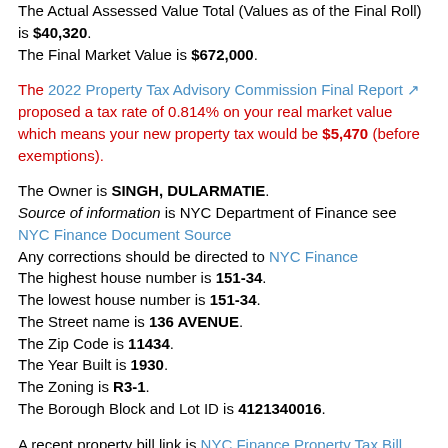The Actual Assessed Value Total (Values as of the Final Roll) is $40,320. The Final Market Value is $672,000.
The 2022 Property Tax Advisory Commission Final Report proposed a tax rate of 0.814% on your real market value which means your new property tax would be $5,470 (before exemptions).
The Owner is SINGH, DULARMATIE. Source of information is NYC Department of Finance see NYC Finance Document Source Any corrections should be directed to NYC Finance The highest house number is 151-34. The lowest house number is 151-34. The Street name is 136 AVENUE. The Zip Code is 11434. The Year Built is 1930. The Zoning is R3-1. The Borough Block and Lot ID is 4121340016.
A recent property bill link is NYC Finance Property Tax Bill (11/00/0000)